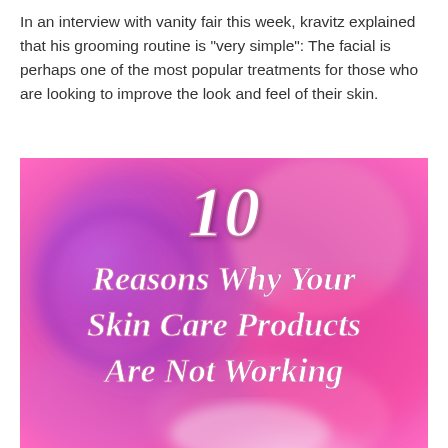In an interview with vanity fair this week, kravitz explained that his grooming routine is "very simple": The facial is perhaps one of the most popular treatments for those who are looking to improve the look and feel of their skin.
[Figure (illustration): A blurred pink and purple background with beauty/skincare products, overlaid with bold white italic text reading '10 Reasons Why Your Skin Care Products Are Not Working']